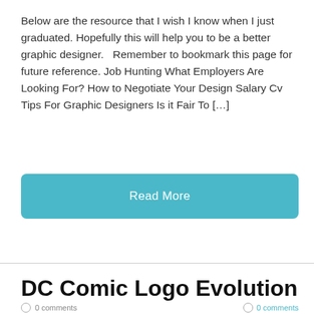Below are the resource that I wish I know when I just graduated. Hopefully this will help you to be a better graphic designer.   Remember to bookmark this page for future reference. Job Hunting What Employers Are Looking For? How to Negotiate Your Design Salary Cv Tips For Graphic Designers Is it Fair To […]
Read More
DC Comic Logo Evolution
0 comments